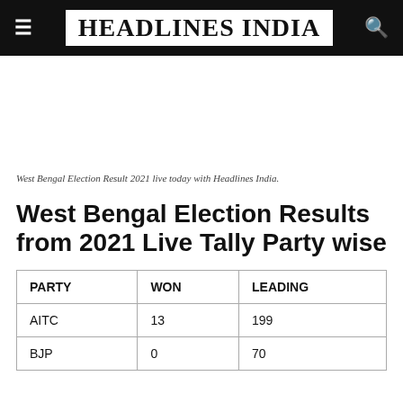HEADLINES INDIA
West Bengal Election Result 2021 live today with Headlines India.
West Bengal Election Results from 2021 Live Tally Party wise
| PARTY | WON | LEADING |
| --- | --- | --- |
| AITC | 13 | 199 |
| BJP | 0 | 70 |